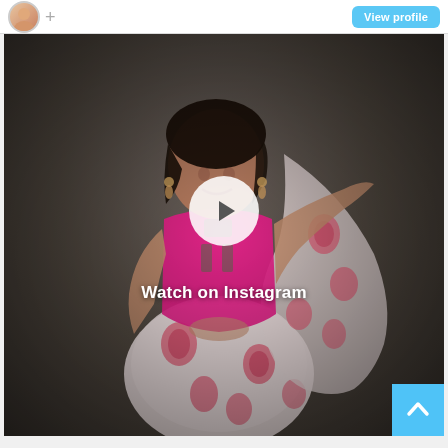[Figure (screenshot): Instagram embed screenshot showing a woman in a pink blouse and white floral saree posing, with a play button overlay and 'Watch on Instagram' label. Top bar shows an avatar, plus icon, and 'View profile' button. Bottom-right has a scroll-to-top arrow button.]